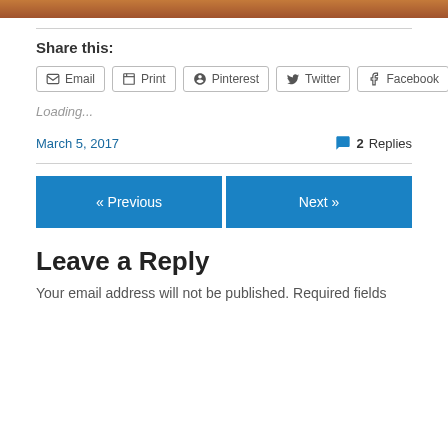[Figure (photo): Partial photo strip at top of page, warm brown/orange tones]
Share this:
Email  Print  Pinterest  Twitter  Facebook
Loading...
March 5, 2017
2 Replies
« Previous
Next »
Leave a Reply
Your email address will not be published. Required fields